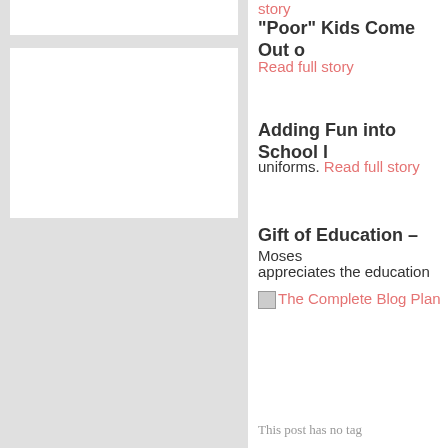story
“Poor” Kids Come Out o
Read full story
Adding Fun into School l
uniforms. Read full story
Gift of Education –
Moses appreciates the education
[Figure (other): Broken image placeholder with link text: The Complete Blog Plan]
This post has no tag